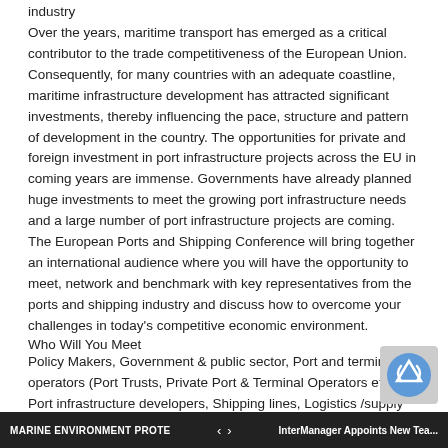industry
Over the years, maritime transport has emerged as a critical contributor to the trade competitiveness of the European Union. Consequently, for many countries with an adequate coastline, maritime infrastructure development has attracted significant investments, thereby influencing the pace, structure and pattern of development in the country. The opportunities for private and foreign investment in port infrastructure projects across the EU in coming years are immense. Governments have already planned huge investments to meet the growing port infrastructure needs and a large number of port infrastructure projects are coming. The European Ports and Shipping Conference will bring together an international audience where you will have the opportunity to meet, network and benchmark with key representatives from the ports and shipping industry and discuss how to overcome your challenges in today's competitive economic environment.
Who Will You Meet
Policy Makers, Government & public sector, Port and terminal operators (Port Trusts, Private Port & Terminal Operators etc.), Port infrastructure developers, Shipping lines, Logistics /supply companies, Storage and warehousing providers, Supply ch... companies, Storage and distribution experts, Private l... (Domestic/International), Transport companies, Construction
MARINE ENVIRONMENT PROTEC...   ‹  ›   InterManager Appoints New Tea...